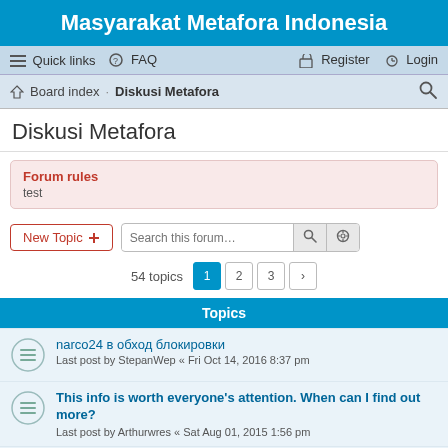Masyarakat Metafora Indonesia
Quick links  FAQ  Register  Login
Board index · Diskusi Metafora
Diskusi Metafora
Forum rules
test
New Topic  Search this forum…
54 topics  1  2  3  ›
Topics
narco24 в обход блокировки
Last post by StepanWep « Fri Oct 14, 2016 8:37 pm
This info is worth everyone's attention. When can I find out more?
Last post by Arthurwres « Sat Aug 01, 2015 1:56 pm
This post is worth everyone's attention. Where can I find out more?
Last post by Arthurwres « Sat Aug 01, 2015 5:20 am
Hi there very cool site!! Man .. Excellent ..
Last post by ...